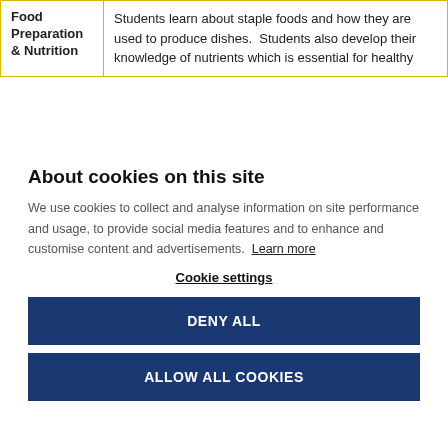| Subject | Description |
| --- | --- |
| Food Preparation & Nutrition | Students learn about staple foods and how they are used to produce dishes.  Students also develop their knowledge of nutrients which is essential for healthy |
About cookies on this site
We use cookies to collect and analyse information on site performance and usage, to provide social media features and to enhance and customise content and advertisements. Learn more
Cookie settings
DENY ALL
ALLOW ALL COOKIES